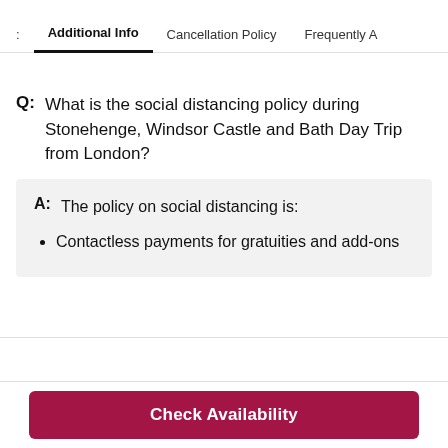Additional Info | Cancellation Policy | Frequently A
Q: What is the social distancing policy during Stonehenge, Windsor Castle and Bath Day Trip from London?
A: The policy on social distancing is:
Contactless payments for gratuities and add-ons
Check Availability